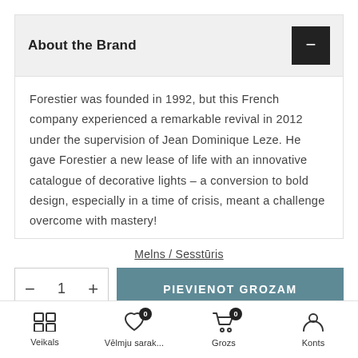About the Brand
Forestier was founded in 1992, but this French company experienced a remarkable revival in 2012 under the supervision of Jean Dominique Leze. He gave Forestier a new lease of life with an innovative catalogue of decorative lights – a conversion to bold design, especially in a time of crisis, meant a challenge overcome with mastery!
Melns / Sesstūris
Veikals | Vēlmju sarak... | Grozs | Konts